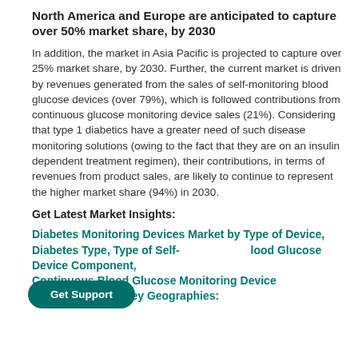North America and Europe are anticipated to capture over 50% market share, by 2030
In addition, the market in Asia Pacific is projected to capture over 25% market share, by 2030. Further, the current market is driven by revenues generated from the sales of self-monitoring blood glucose devices (over 79%), which is followed contributions from continuous glucose monitoring device sales (21%). Considering that type 1 diabetics have a greater need of such disease monitoring solutions (owing to the fact that they are on an insulin dependent treatment regimen), their contributions, in terms of revenues from product sales, are likely to continue to represent the higher market share (94%) in 2030.
Get Latest Market Insights:
Diabetes Monitoring Devices Market by Type of Device, Diabetes Type, Type of Self-Blood Glucose Device Component, Continuous Blood Glucose Monitoring Device Component, and Key Geographies: